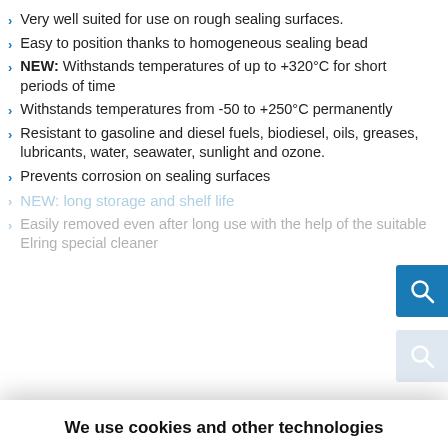Very well suited for use on rough sealing surfaces.
Easy to position thanks to homogeneous sealing bead
NEW: Withstands temperatures of up to +320°C for short periods of time
Withstands temperatures from -50 to +250°C permanently
Resistant to gasoline and diesel fuels, biodiesel, oils, greases, lubricants, water, seawater, sunlight and ozone.
Prevents corrosion on sealing surfaces
We use cookies and other technologies
This site uses cookies. By continuing to use this site, closing this banner, or clicking "I Agree", you agree to the use of cookies. Read our cookies policy and privacy statement for more information.
I agree
More information